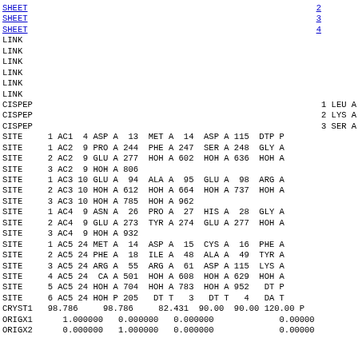| SHEET | 2 | E 4 GLU A 414 | ALA A 431 -1 | O ALA A 420 |
| SHEET | 3 | E 4 ARG A 361 | VAL A 372 -1 | N VAL A 367 |
| SHEET | 4 | E 4 LEU A 381 | ALA A 386 -1 | O ARG A 383 |
| LINK |  | O   MET A  14 |  | CA    CA A 501 |
| LINK |  | CA    CA A 501 |  | O1B DTP P 101 |
| LINK |  | CA    CA A 501 |  | O3G DTP P 101 |
| LINK |  | OD1 ASP A 115 |  | CA    CA A 501 |
| LINK |  | CA    CA A 501 |  | O2A DTP P 101 |
| LINK |  | OD2 ASP A  13 |  | CA    CA A 501 |
| CISPEP | 1 LEU A  150 | PRO A  151 | 0 | 0 |
| CISPEP | 2 LYS A  231 | PRO A  232 | 0 | -3 |
| CISPEP | 3 SER A  416 | PRO A  417 | 0 | -4 |
| SITE | 1 AC1  4 ASP A  13 | MET A  14 | ASP A 115 | DTP P |
| SITE | 1 AC2  9 PRO A 244 | PHE A 247 | SER A 248 | GLY A |
| SITE | 2 AC2  9 GLU A 277 | HOH A 602 | HOH A 636 | HOH A |
| SITE | 3 AC2  9 HOH A 806 |  |  |  |
| SITE | 1 AC3 10 GLU A  94 | ALA A  95 | GLU A  98 | ARG A |
| SITE | 2 AC3 10 HOH A 612 | HOH A 664 | HOH A 737 | HOH A |
| SITE | 3 AC3 10 HOH A 785 | HOH A 962 |  |  |
| SITE | 1 AC4  9 ASN A  26 | PRO A  27 | HIS A  28 | GLY A |
| SITE | 2 AC4  9 GLU A 273 | TYR A 274 | GLU A 277 | HOH A |
| SITE | 3 AC4  9 HOH A 932 |  |  |  |
| SITE | 1 AC5 24 MET A  14 | ASP A  15 | CYS A  16 | PHE A |
| SITE | 2 AC5 24 PHE A  18 | ILE A  48 | ALA A  49 | TYR A |
| SITE | 3 AC5 24 ARG A  55 | ARG A  61 | ASP A 115 | LYS A |
| SITE | 4 AC5 24  CA A 501 | HOH A 608 | HOH A 629 | HOH A |
| SITE | 5 AC5 24 HOH A 704 | HOH A 783 | HOH A 952 | DT P |
| SITE | 6 AC5 24 HOH P 205 | DT T   3 | DT T   4 | DA T |
| CRYST1 | 98.786   98.786   82.431  90.00  90.00 120.00 P |  |  |  |
| ORIGX1 | 1.000000   0.000000   0.000000 |  |  | 0.00000 |
| ORIGX2 | 0.000000   1.000000   0.000000 |  |  | 0.00000 |